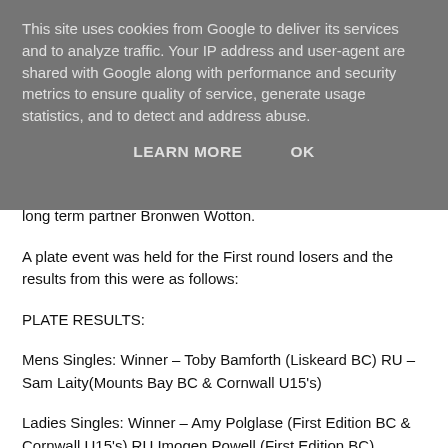This site uses cookies from Google to deliver its services and to analyze traffic. Your IP address and user-agent are shared with Google along with performance and security metrics to ensure quality of service, generate usage statistics, and to detect and address abuse.
LEARN MORE   OK
long term partner Bronwen Wotton.
A plate event was held for the First round losers and the results from this were as follows:
PLATE RESULTS:
Mens Singles: Winner – Toby Bamforth (Liskeard BC) RU – Sam Laity(Mounts Bay BC & Cornwall U15's)
Ladies Singles: Winner – Amy Polglase (First Edition BC & Cornwall U15's) RU Imogen Powell (First Edition BC) .
Mens Doubles: Winners - Chris Cooper (First Edition BC)&